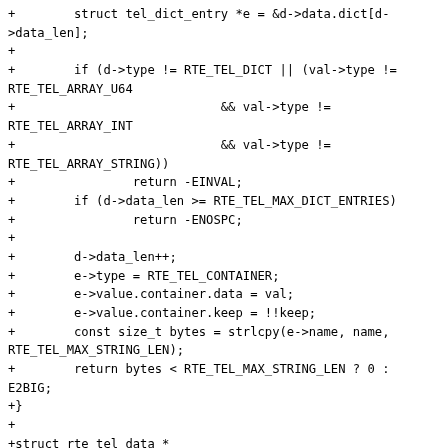+		struct tel_dict_entry *e = &d->data.dict[d->data_len];
+
+		if (d->type != RTE_TEL_DICT || (val->type != RTE_TEL_ARRAY_U64
+					&& val->type !=
RTE_TEL_ARRAY_INT
+					&& val->type !=
RTE_TEL_ARRAY_STRING))
+			return -EINVAL;
+		if (d->data_len >= RTE_TEL_MAX_DICT_ENTRIES)
+			return -ENOSPC;
+
+		d->data_len++;
+		e->type = RTE_TEL_CONTAINER;
+		e->value.container.data = val;
+		e->value.container.keep = !!keep;
+		const size_t bytes = strlcpy(e->name, name, RTE_TEL_MAX_STRING_LEN);
+		return bytes < RTE_TEL_MAX_STRING_LEN ? 0 : E2BIG;
+}
+
+struct rte_tel_data *
+rte_tel_data_alloc(void)
+{
+		return malloc(sizeof(struct rte_tel_data));
+}
+
+void